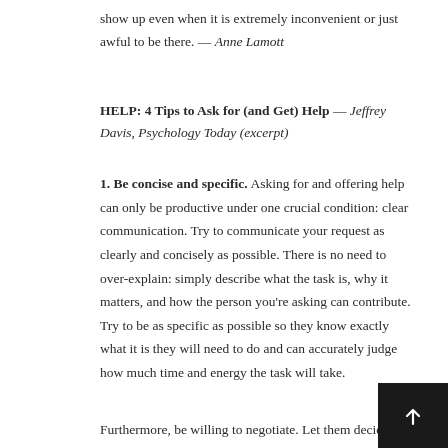show up even when it is extremely inconvenient or just awful to be there. — Anne Lamott
HELP: 4 Tips to Ask for (and Get) Help — Jeffrey Davis, Psychology Today (excerpt)
1. Be concise and specific. Asking for and offering help can only be productive under one crucial condition: clear communication. Try to communicate your request as clearly and concisely as possible. There is no need to over-explain: simply describe what the task is, why it matters, and how the person you're asking can contribute. Try to be as specific as possible so they know exactly what it is they will need to do and can accurately judge how much time and energy the task will take.
Furthermore, be willing to negotiate. Let them decide how